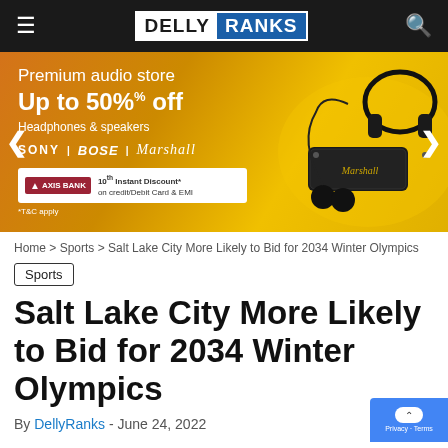DELLY RANKS
[Figure (infographic): Advertisement banner for Amazon Premium audio store: Up to 50% off on Headphones & speakers. Brands: Sony, Bose, Marshall. Axis Bank 10% Instant Discount on credit/Debit Card & EMI. Shows Marshall speaker, headphones, and earbuds on yellow/orange background.]
Home > Sports > Salt Lake City More Likely to Bid for 2034 Winter Olympics
Sports
Salt Lake City More Likely to Bid for 2034 Winter Olympics
By DellyRanks - June 24, 2022